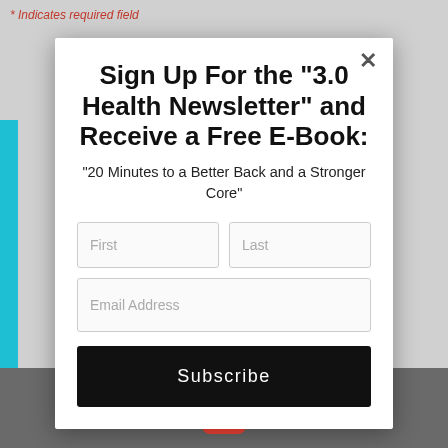* Indicates required field
Sign Up For the "3.0 Health Newsletter" and Receive a Free E-Book:
"20 Minutes to a Better Back and a Stronger Core"
First
Last
Email Address
Subscribe